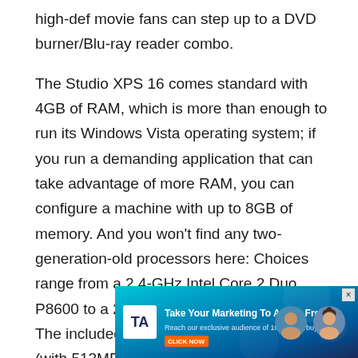high-def movie fans can step up to a DVD burner/Blu-ray reader combo.
The Studio XPS 16 comes standard with 4GB of RAM, which is more than enough to run its Windows Vista operating system; if you run a demanding application that can take advantage of more RAM, you can configure a machine with up to 8GB of memory. And you won't find any two-generation-old processors here: Choices range from a 2.4-GHz Intel Core 2 Duo P8600 to a 2.93-GHz Core 2 Duo T9800. The included ATI Mobility Radeon M86XT (with 512MB of dedicated video RAM) is a good choice for business 3D, and powerful enough for the occas
[Figure (other): Advertisement banner: 'Take Your Marketing To A New Frontier. Reach our exclusive audience of 100M tech buyers.' with TechTarget/IT logo and photos of people, with an orange CTA button and a close (x) button.]